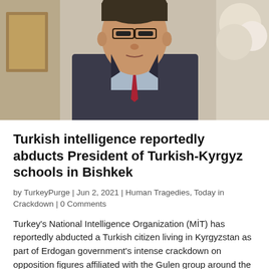[Figure (photo): Portrait photo of a middle-aged man in a dark suit and red tie, wearing glasses, standing in front of a decorative background]
Turkish intelligence reportedly abducts President of Turkish-Kyrgyz schools in Bishkek
by TurkeyPurge | Jun 2, 2021 | Human Tragedies, Today in Crackdown | 0 Comments
Turkey's National Intelligence Organization (MİT) has reportedly abducted a Turkish citizen living in Kyrgyzstan as part of Erdogan government's intense crackdown on opposition figures affiliated with the Gulen group around the world. According to several Kyrgyz media...